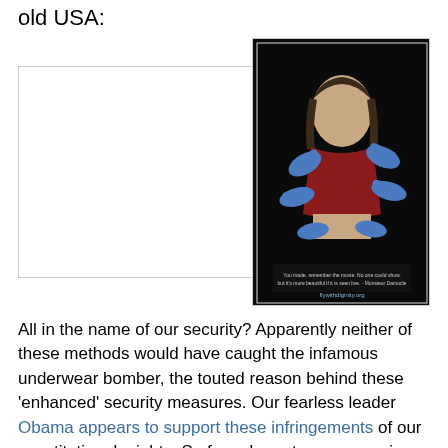old USA:
[Figure (photo): Left placeholder: empty white box with light border]
or
[Figure (photo): Right image: photo of a woman in red top with blue-gloved hands reaching at her, text at bottom: flywithdiginity.org]
All in the name of our security? Apparently neither of these methods would have caught the infamous underwear bomber, the touted reason behind these 'enhanced' security measures. Our fearless leader Obama appears to support these infringements of our constitutionals rights. So far, a breast cancer survivor has been forced to remove a prosthetic breast, a sexual assault survivor's sanitary napkin showed up in the body scan and she was subjected to a traumatizing molestosearch anyway, a bladder cancer